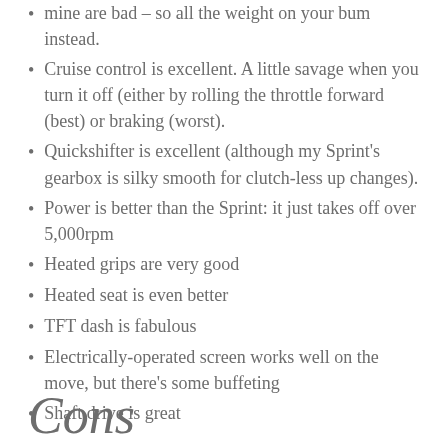mine are bad – so all the weight on your bum instead.
Cruise control is excellent. A little savage when you turn it off (either by rolling the throttle forward (best) or braking (worst).
Quickshifter is excellent (although my Sprint's gearbox is silky smooth for clutch-less up changes).
Power is better than the Sprint: it just takes off over 5,000rpm
Heated grips are very good
Heated seat is even better
TFT dash is fabulous
Electrically-operated screen works well on the move, but there's some buffeting
Shaft drive is great
Cons